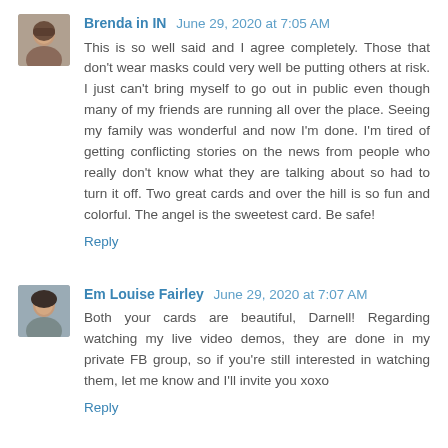Brenda in IN  June 29, 2020 at 7:05 AM
This is so well said and I agree completely. Those that don't wear masks could very well be putting others at risk. I just can't bring myself to go out in public even though many of my friends are running all over the place. Seeing my family was wonderful and now I'm done. I'm tired of getting conflicting stories on the news from people who really don't know what they are talking about so had to turn it off. Two great cards and over the hill is so fun and colorful. The angel is the sweetest card. Be safe!
Reply
Em Louise Fairley  June 29, 2020 at 7:07 AM
Both your cards are beautiful, Darnell! Regarding watching my live video demos, they are done in my private FB group, so if you're still interested in watching them, let me know and I'll invite you xoxo
Reply